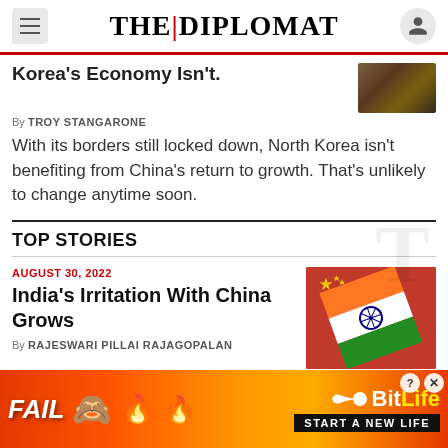THE|DIPLOMAT
Korea's Economy Isn't.
By TROY STANGARONE
With its borders still locked down, North Korea isn't benefiting from China's return to growth. That's unlikely to change anytime soon.
TOP STORIES
AUGUST 30, 2022
India's Irritation With China Grows
By RAJESWARI PILLAI RAJAGOPALAN
[Figure (photo): India and China flags overlapping]
[Figure (advertisement): BitLife game advertisement: FAIL START A NEW LIFE]